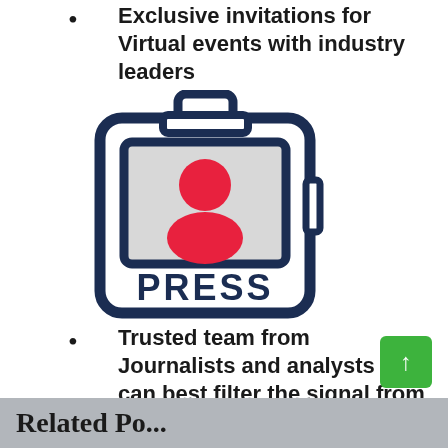Exclusive invitations for Virtual events with industry leaders
[Figure (illustration): Press badge / credential card icon with a clipboard shape, dark navy border, a photo ID area showing a red person silhouette on a light grey background, and the word PRESS in bold dark navy letters at the bottom.]
Trusted team from Journalists and analysts who can best filter the signal from noise
Related Po...